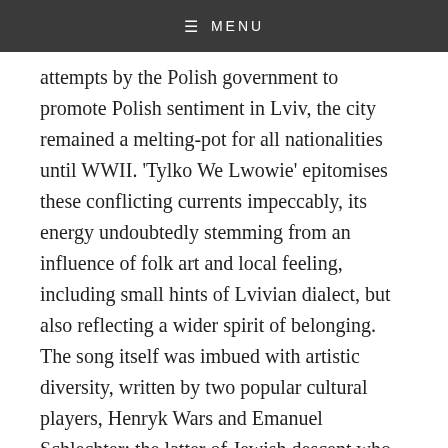≡ MENU
attempts by the Polish government to promote Polish sentiment in Lviv, the city remained a melting-pot for all nationalities until WWII. 'Tylko We Lwowie' epitomises these conflicting currents impeccably, its energy undoubtedly stemming from an influence of folk art and local feeling, including small hints of Lvivian dialect, but also reflecting a wider spirit of belonging. The song itself was imbued with artistic diversity, written by two popular cultural players, Henryk Wars and Emanuel Schlechter; the latter of Jewish descent who lived the majority of his life in Lviv.
The song's vast reach and continuing